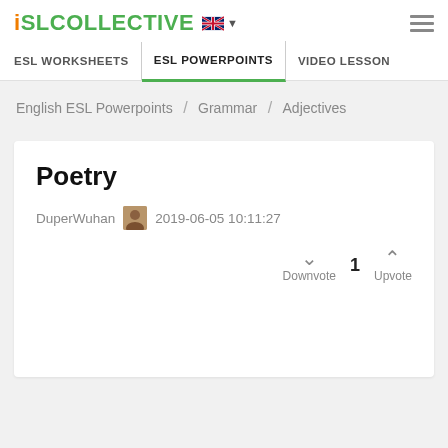iSLCOLLECTIVE
ESL WORKSHEETS | ESL POWERPOINTS | VIDEO LESSON
English ESL Powerpoints / Grammar / Adjectives
Poetry
DuperWuhan  2019-06-05 10:11:27
Downvote  1  Upvote